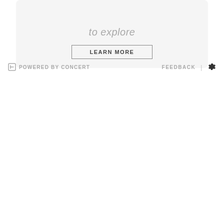to explore
LEARN MORE
POWERED BY CONCERT   FEEDBACK | ⚙